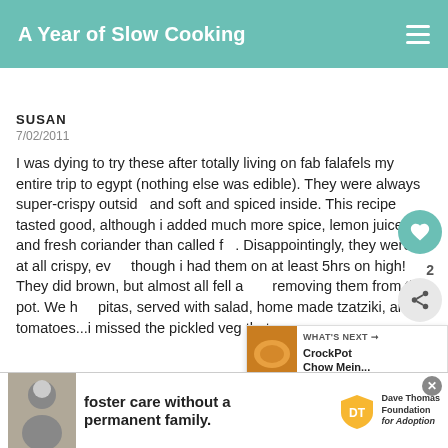A Year of Slow Cooking
SUSAN
7/02/2011
I was dying to try these after totally living on fab falafels my entire trip to egypt (nothing else was edible). They were always super-crispy outside and soft and spiced inside. This recipe tasted good, although i added much more spice, lemon juice and fresh coriander than called f... Disappointingly, they weren't at all crispy, even though i had them on at least 5hrs on high! They did brown, but almost all fell a... removing them from the pot. We h... pitas, served with salad, home made tzatziki, and tomatoes...i missed the pickled veg that ... them ... a w...
[Figure (other): What's Next promo box with food image and text: CrockPot Chow Mein...]
[Figure (other): Advertisement banner: foster care without a permanent family. Dave Thomas Foundation for Adoption logo with person photo.]